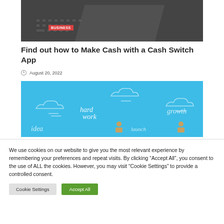[Figure (photo): Dark background photo of a laptop keyboard]
BUSINESS
Find out how to Make Cash with a Cash Switch App
August 20, 2022
[Figure (illustration): Blue infographic banner with clouds and words: idea, hard work, launch, growth, with small person icons]
We use cookies on our website to give you the most relevant experience by remembering your preferences and repeat visits. By clicking “Accept All”, you consent to the use of ALL the cookies. However, you may visit "Cookie Settings" to provide a controlled consent.